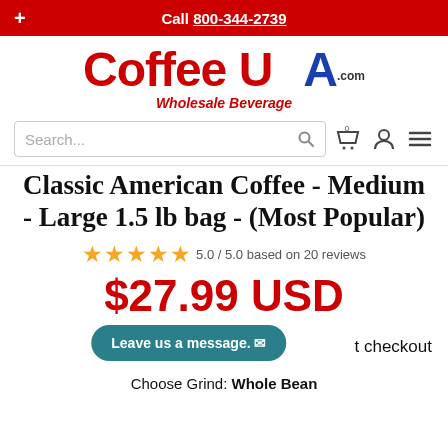Call 800-344-2739
[Figure (logo): Coffee USA .com Wholesale Beverage logo]
Search...
Classic American Coffee - Medium - Large 1.5 lb bag - (Most Popular)
5.0 / 5.0 based on 20 reviews
$27.99 USD
Leave us a message.
t checkout
Choose Grind: Whole Bean